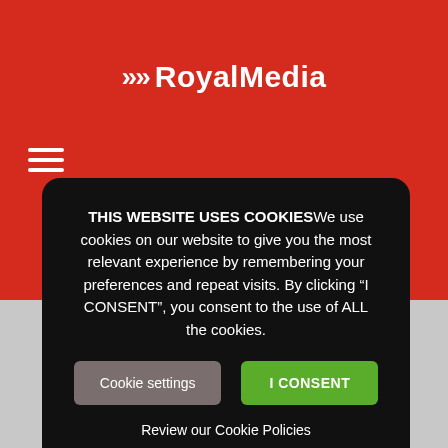[Figure (logo): RoyalMedia logo with double chevron arrows and text on red background]
THIS WEBSITE USES COOKIES We use cookies on our website to give you the most relevant experience by remembering your preferences and repeat visits. By clicking “I CONSENT”, you consent to the use of ALL the cookies.
Cookie settings
I CONSENT
Review our Cookie Policies